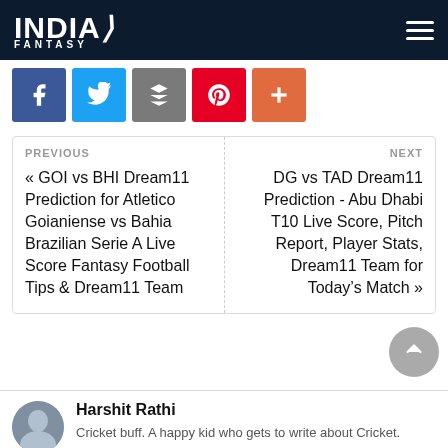INDIA FANTASY
[Figure (other): Social share buttons: Facebook, Twitter, Reddit, Pinterest, Plus]
PREVIOUS
« GOI vs BHI Dream11 Prediction for Atletico Goianiense vs Bahia Brazilian Serie A Live Score Fantasy Football Tips & Dream11 Team
NEXT
DG vs TAD Dream11 Prediction - Abu Dhabi T10 Live Score, Pitch Report, Player Stats, Dream11 Team for Today's Match »
Harshit Rathi
Cricket buff. A happy kid who gets to write about Cricket. Traveler.